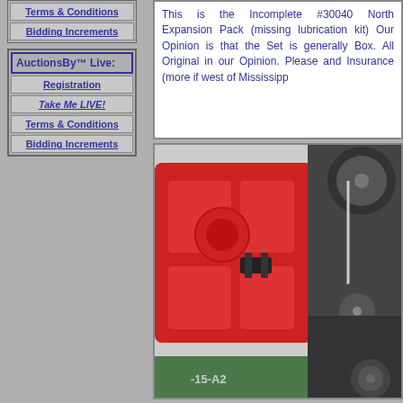Terms & Conditions
Bidding Increments
AuctionsBy™ Live:
Registration
Take Me LIVE!
Terms & Conditions
Bidding Increments
This is the Incomplete #30040 North Expansion Pack (missing lubrication kit) Our Opinion is that the Set is generally Box. All Original in our Opinion. Please and Insurance (more if west of Mississippi
[Figure (photo): Close-up photo of a model train set components including a red plastic tray/shell with metal mechanical parts, wheels, and chassis visible. A green base with label -15-A2 is visible at the bottom.]